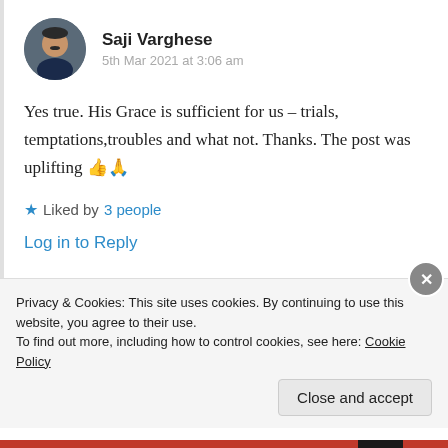Saji Varghese
5th Mar 2021 at 3:06 am
Yes true. His Grace is sufficient for us – trials, temptations,troubles and what not. Thanks. The post was uplifting 👍🙏
★ Liked by 3 people
Log in to Reply
Privacy & Cookies: This site uses cookies. By continuing to use this website, you agree to their use.
To find out more, including how to control cookies, see here: Cookie Policy
Close and accept